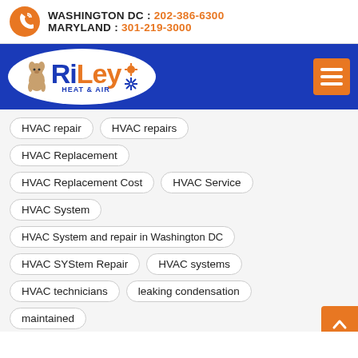WASHINGTON DC : 202-386-6300  MARYLAND : 301-219-3000
[Figure (logo): Riley Heat & Air logo on blue navigation bar with hamburger menu icon]
HVAC repair
HVAC repairs
HVAC Replacement
HVAC Replacement Cost
HVAC Service
HVAC System
HVAC System and repair in Washington DC
HVAC SYStem Repair
HVAC systems
HVAC technicians
leaking condensation
maintained
professional HVAC repair service provider
professional HVAC technicians